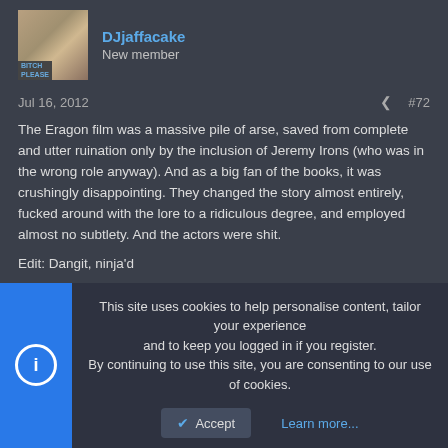DJjaffacake
New member
Jul 16, 2012
#72
The Eragon film was a massive pile of arse, saved from complete and utter ruination only by the inclusion of Jeremy Irons (who was in the wrong role anyway). And as a big fan of the books, it was crushingly disappointing. They changed the story almost entirely, fucked around with the lore to a ridiculous degree, and employed almost no subtlety. And the actors were shit.
Edit: Dangit, ninja'd
Relish in Chaos
This site uses cookies to help personalise content, tailor your experience and to keep you logged in if you register.
By continuing to use this site, you are consenting to our use of cookies.
Accept
Learn more...